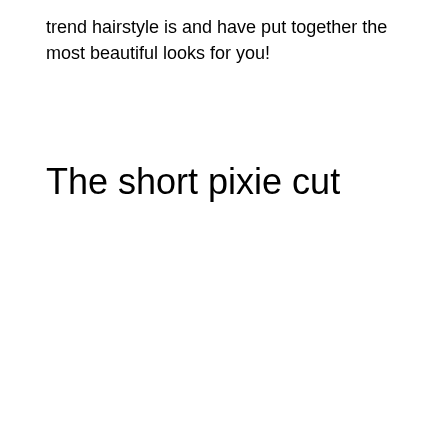trend hairstyle is and have put together the most beautiful looks for you!
The short pixie cut